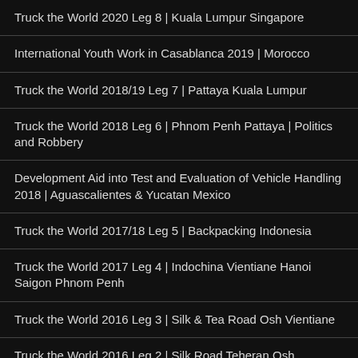Truck the World 2020 Leg 8 | Kuala Lumpur Singapore
International Youth Work in Casablanca 2019 | Morocco
Truck the World 2018/19 Leg 7 | Pattaya Kuala Lumpur
Truck the World 2018 Leg 6 | Phnom Penh Pattaya | Politics and Robbery
Development Aid into Test and Evaluation of Vehicle Handling 2018 | Aguascalientes & Yucatan Mexico
Truck the World 2017/18 Leg 5 | Backpacking Indonesia
Truck the World 2017 Leg 4 | Indochina Vientiane Hanoi Saigon Phnom Penh
Truck the World 2016 Leg 3 | Silk & Tea Road Osh Vientiane
Truck the World 2016 Leg 2 | Silk Road Teheran Osh
Truck the World 2015 Leg 1 | Silk Road Bonn Teheran